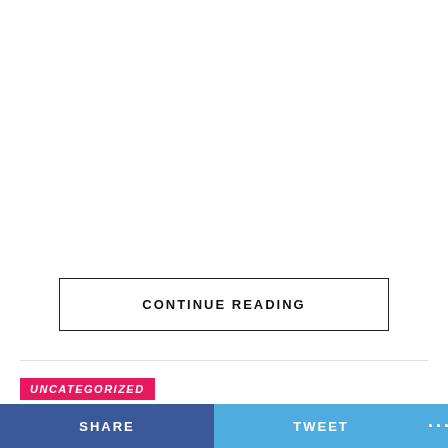CONTINUE READING
UNCATEGORIZED
Arnold Asamoah Baidoo goes hard
SHARE   TWEET   ...